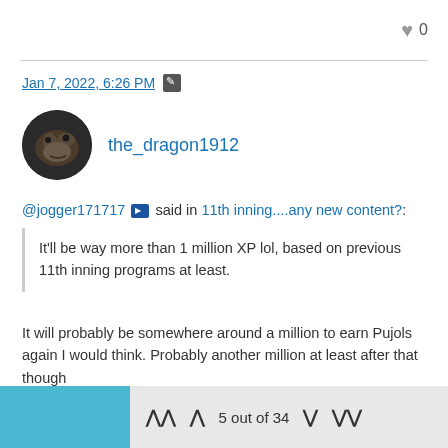♥ 0
Jan 7, 2022, 6:26 PM [edit icon]
the_dragon1912
@jogger171717 [ps icon] said in 11th inning....any new content?:
It'll be way more than 1 million XP lol, based on previous 11th inning programs at least.
It will probably be somewhere around a million to earn Pujols again I would think. Probably another million at least after that though
5 out of 34